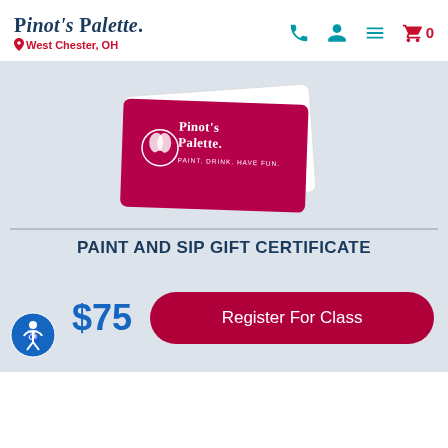Pinot's Palette. West Chester, OH
[Figure (photo): Two gift certificates for Pinot's Palette paint and sip studio. Front card is magenta/red with Pinot's Palette logo and tagline 'Paint. Drink. Have Fun.' Back card is white with 'Gift Certificate' text.]
PAINT AND SIP GIFT CERTIFICATE
$75
Register For Class